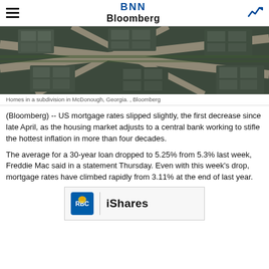BNN Bloomberg
[Figure (photo): Aerial view of homes in a subdivision in McDonough, Georgia]
Homes in a subdivision in McDonough, Georgia. , Bloomberg
(Bloomberg) -- US mortgage rates slipped slightly, the first decrease since late April, as the housing market adjusts to a central bank working to stifle the hottest inflation in more than four decades.
The average for a 30-year loan dropped to 5.25% from 5.3% last week, Freddie Mac said in a statement Thursday. Even with this week's drop, mortgage rates have climbed rapidly from 3.11% at the end of last year.
[Figure (logo): RBC iShares advertisement banner]